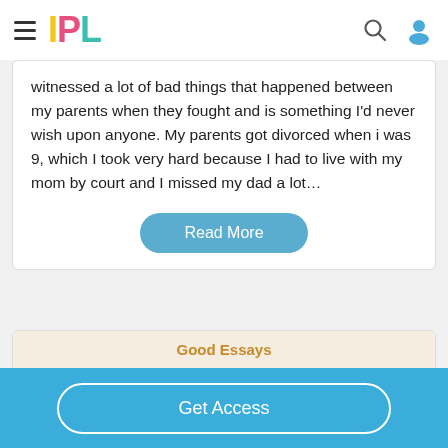IPL
witnessed a lot of bad things that happened between my parents when they fought and is something I'd never wish upon anyone. My parents got divorced when i was 9, which I took very hard because I had to live with my mom by court and I missed my dad a lot…
Read More
Good Essays
Creative Writing: How Josephine's Life Affected
Get Access